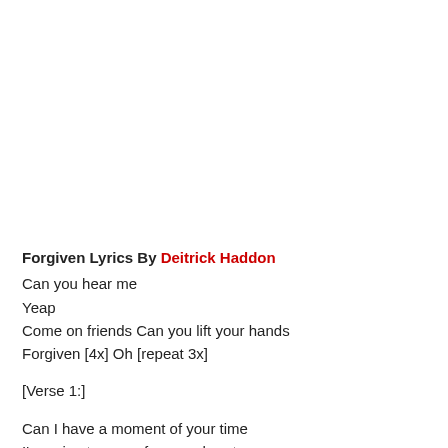Forgiven Lyrics By Deitrick Haddon
Can you hear me
Yeap
Come on friends Can you lift your hands
Forgiven [4x] Oh [repeat 3x]
[Verse 1:]
Can I have a moment of your time
I'm going to come from my heart